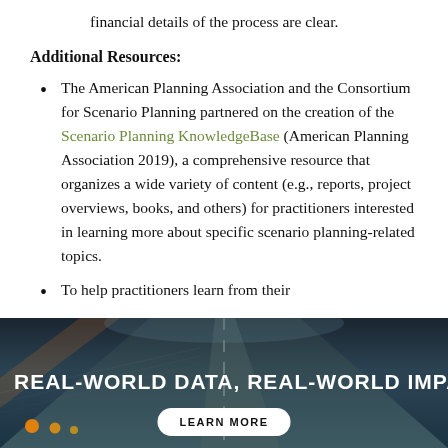financial details of the process are clear.
Additional Resources:
The American Planning Association and the Consortium for Scenario Planning partnered on the creation of the Scenario Planning KnowledgeBase (American Planning Association 2019), a comprehensive resource that organizes a wide variety of content (e.g., reports, project overviews, books, and others) for practitioners interested in learning more about specific scenario planning-related topics.
To help practitioners learn from their
[Figure (photo): Dark banner image showing a highway road with motion blur, with bold white text reading 'REAL-WORLD DATA, REAL-WORLD IMPA...' and a white 'LEARN MORE' button at the bottom center.]